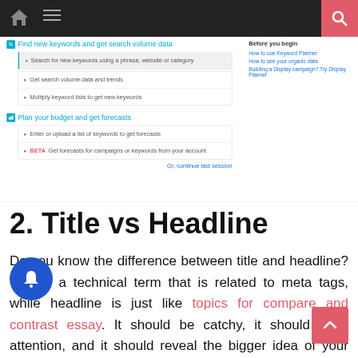Navigation bar with home, menu, and search icons
[Figure (screenshot): Google Keyword Planner interface showing 'Find new keywords and get search volume data' and 'Plan your budget and get forecasts' sections with options and a right sidebar 'Before you begin' with links]
2. Title vs Headline
Do you know the difference between title and headline? Title is a technical term that is related to meta tags, while headline is just like topics for compare and contrast essay. It should be catchy, it should draw attention, and it should reveal the bigger idea of your post. Headline is important for Google ranking as well, as it comes under